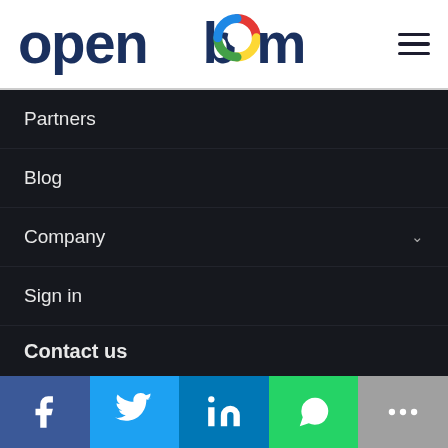[Figure (logo): OpenBOM logo with colorful circle and hamburger menu icon]
Partners
Blog
Company
Sign in
Contact us
Corporate Headquarters: Newton, MA
Phone
1-844-299-9333
Email
[Figure (infographic): Social media share bar with Facebook, Twitter, LinkedIn, WhatsApp, and more buttons]